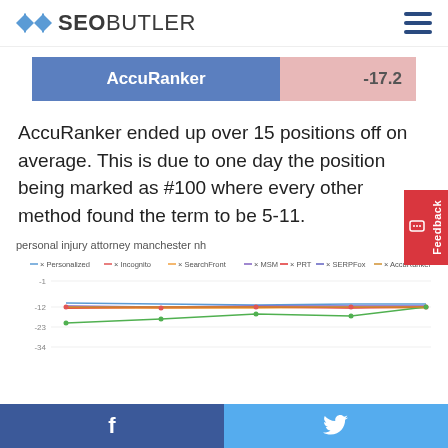SEOBUTLER
| Tool | Score |
| --- | --- |
| AccuRanker | -17.2 |
AccuRanker ended up over 15 positions off on average. This is due to one day the position being marked as #100 where every other method found the term to be 5-11.
[Figure (line-chart): Line chart showing multiple series: Personalized, Incognito, SearchFront, MSM, PRT, SERPFox, AccuRanker. Y-axis shows positions around -1 to -34. Lines trend across multiple data points.]
f  (Facebook share)    (Twitter share)